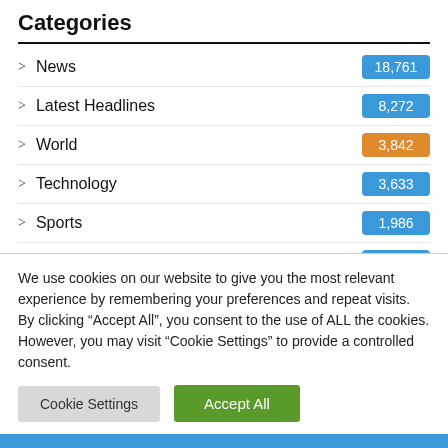Categories
> News 18,761
> Latest Headlines 8,272
> World 3,842
> Technology 3,633
> Sports 1,986
> Health 560
> Politics 448
We use cookies on our website to give you the most relevant experience by remembering your preferences and repeat visits. By clicking “Accept All”, you consent to the use of ALL the cookies. However, you may visit “Cookie Settings” to provide a controlled consent.
Cookie Settings | Accept All